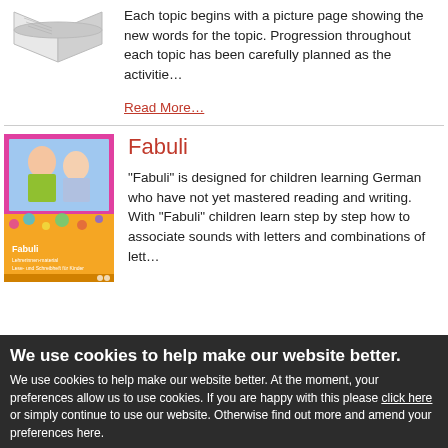[Figure (illustration): Partial view of a book/notebook illustration (top portion, gray tones)]
Each topic begins with a picture page showing the new words for the topic. Progression throughout each topic has been carefully planned as the activitie…
Read More…
[Figure (photo): Cover of the Fabuli book showing two laughing children and colorful design with orange and pink background]
Fabuli
"Fabuli" is designed for children learning German who have not yet mastered reading and writing. With "Fabuli" children learn step by step how to associate sounds with letters and combinations of lett…
We use cookies to help make our website better.
We use cookies to help make our website better. At the moment, your preferences allow us to use cookies. If you are happy with this please click here or simply continue to use our website. Otherwise find out more and amend your preferences here.